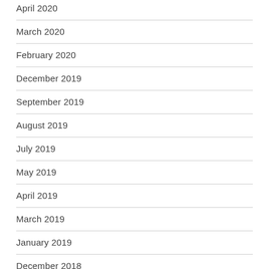April 2020
March 2020
February 2020
December 2019
September 2019
August 2019
July 2019
May 2019
April 2019
March 2019
January 2019
December 2018
November 2018